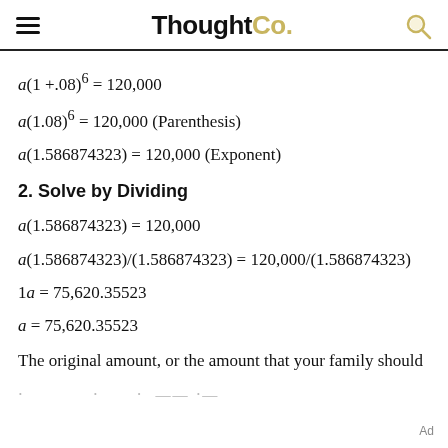ThoughtCo.
2. Solve by Dividing
The original amount, or the amount that your family should